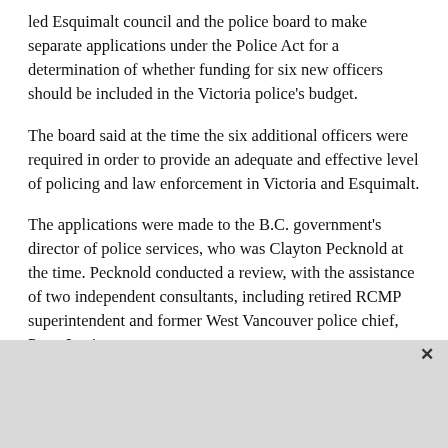led Esquimalt council and the police board to make separate applications under the Police Act for a determination of whether funding for six new officers should be included in the Victoria police's budget.
The board said at the time the six additional officers were required in order to provide an adequate and effective level of policing and law enforcement in Victoria and Esquimalt.
The applications were made to the B.C. government's director of police services, who was Clayton Pecknold at the time. Pecknold conducted a review, with the assistance of two independent consultants, including retired RCMP superintendent and former West Vancouver police chief, Peter Lepine.